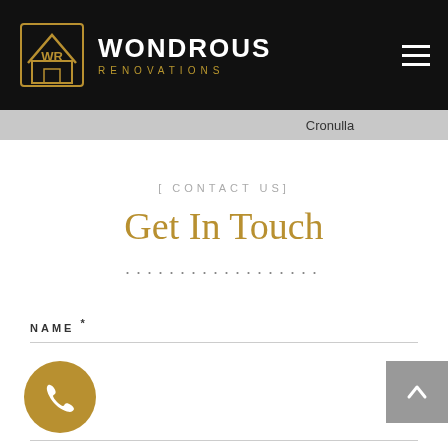WONDROUS RENOVATIONS
Cronulla
[ CONTACT US]
Get In Touch
..................
NAME *
[Figure (other): Gold circular phone icon button]
[Figure (other): Grey back-to-top arrow button]